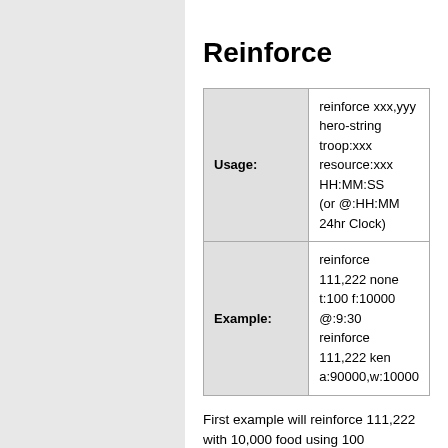Reinforce
| Usage: | reinforce xxx,yyy hero-string troop:xxx resource:xxx HH:MM:SS (or @:HH:MM 24hr Clock) |
| Example: | reinforce 111,222 none t:100 f:10000 @:9:30
reinforce 111,222 ken a:90000,w:10000 |
First example will reinforce 111,222 with 10,000 food using 100 transporters at 9:30
Second example will reinforce 111,222 with hero ken, 90k archers and 10k warriors
See Hero String for details on how to setup the hero string for this script.